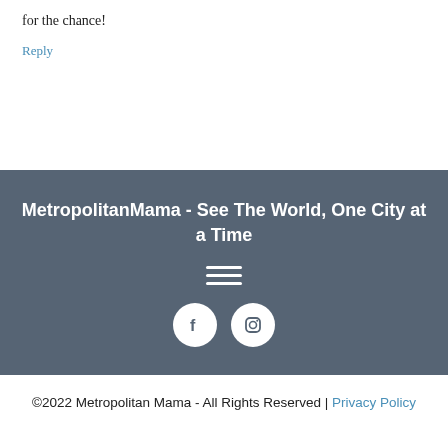for the chance!
Reply
MetropolitanMama - See The World, One City at a Time
[Figure (illustration): Hamburger menu icon with three white horizontal lines]
[Figure (illustration): Social media icons: Facebook and Instagram circles in white on dark background]
©2022 Metropolitan Mama - All Rights Reserved | Privacy Policy